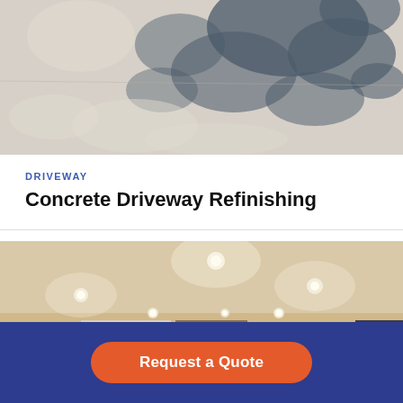[Figure (photo): Aerial or close-up view of a concrete driveway surface with shadows from trees overhead, showing light gray concrete texture with dark shadow patches]
DRIVEWAY
Concrete Driveway Refinishing
[Figure (photo): Interior photo of a finished basement or living room with recessed ceiling lights, built-in shelving, a fireplace with white mantel, wall-mounted TV, and warm beige walls]
Request a Quote